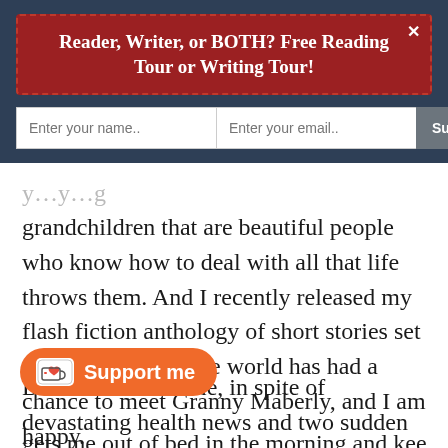Reader, Writer, or BOTH? Free Reading Tour or Writing Tour!
grandchildren that are beautiful people who know how to deal with all that life throws them. And I recently released my flash fiction anthology of short stories set on Dragonish, so the world has had a chance to meet Granny Maberly, and I am happy.
But in the meantime, in spite of devastating health news and two sudden and crushing deaths in the [family], [fini]shing the other five books gets me out of bed in the morning and keeps my